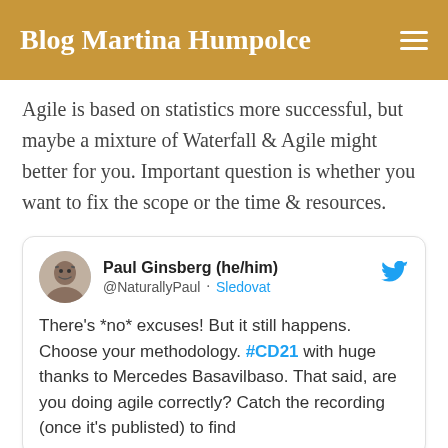Blog Martina Humpolce
Agile is based on statistics more successful, but maybe a mixture of Waterfall & Agile might better for you. Important question is whether you want to fix the scope or the time & resources.
[Figure (screenshot): Embedded tweet by Paul Ginsberg (he/him) @NaturallyPaul with follow link 'Sledovat'. Tweet text: There's *no* excuses! But it still happens. Choose your methodology. #CD21 with huge thanks to Mercedes Basavilbaso. That said, are you doing agile correctly? Catch the recording (once it's publisted) to find]